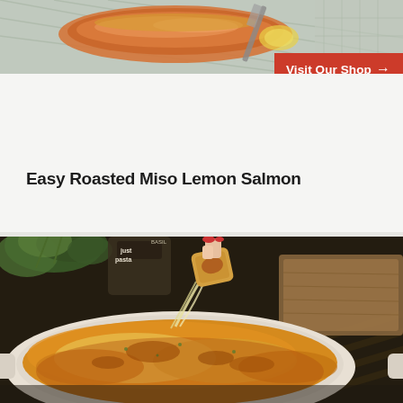[Figure (photo): Roasted salmon fillet on a baking tray, partially visible at top of card]
[Figure (other): Red button/banner reading 'Visit Our Shop' with right arrow]
Easy Roasted Miso Lemon Salmon
[Figure (photo): Cheesy baked pasta dip in a white oval dish, person's hand holding a piece, with herbs and wooden board in background]